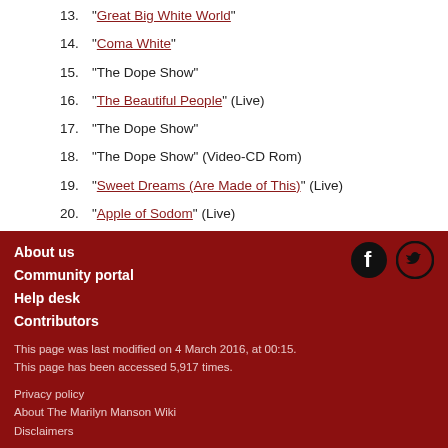13. "Great Big White World"
14. "Coma White"
15. "The Dope Show"
16. "The Beautiful People" (Live)
17. "The Dope Show"
18. "The Dope Show" (Video-CD Rom)
19. "Sweet Dreams (Are Made of This)" (Live)
20. "Apple of Sodom" (Live)
: Marilyn Manson bootlegs
About us
Community portal
Help desk
Contributors

This page was last modified on 4 March 2016, at 00:15.
This page has been accessed 5,917 times.

Privacy policy
About The Marilyn Manson Wiki
Disclaimers